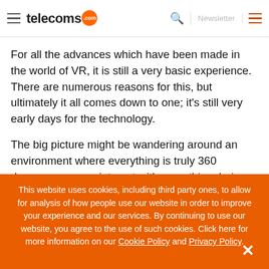telecoms.com | Newsletter
For all the advances which have been made in the world of VR, it is still a very basic experience. There are numerous reasons for this, but ultimately it all comes down to one; it's still very early days for the technology.
The big picture might be wandering around an environment where everything is truly 360 degrees, you can interact with everything, being as close to the real world as possible. But
This website uses cookies, including third party ones, to allow for analysis of how people use our website in order to improve your experience and our services. By continuing to use our website, you agree to the use of such cookies. Click here for more information on our Cookie Policy and Privacy Policy.